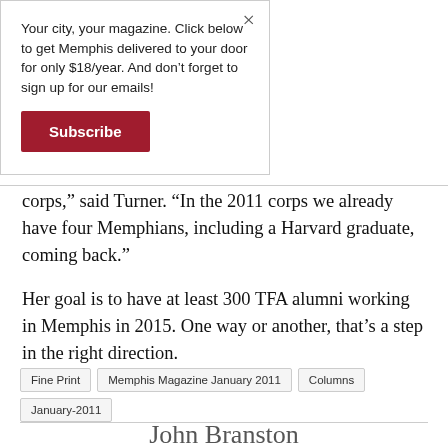Your city, your magazine. Click below to get Memphis delivered to your door for only $18/year. And don't forget to sign up for our emails!
Subscribe
corps,” said Turner. “In the 2011 corps we already have four Memphians, including a Harvard graduate, coming back.”
Her goal is to have at least 300 TFA alumni working in Memphis in 2015. One way or another, that’s a step in the right direction.
Fine Print
Memphis Magazine January 2011
Columns
January-2011
John Branston